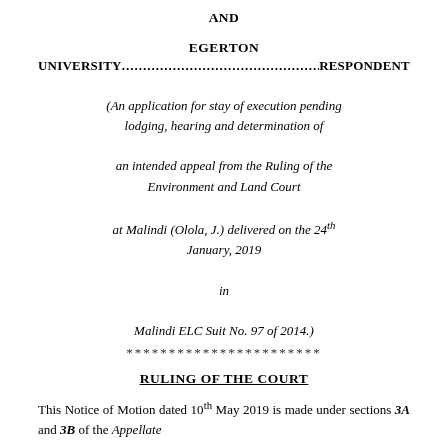AND
EGERTON
UNIVERSITY.........................................................RESPONDENT
(An application for stay of execution pending lodging, hearing and determination of an intended appeal from the Ruling of the Environment and Land Court at Malindi (Olola, J.) delivered on the 24th January, 2019 in Malindi ELC Suit No. 97 of 2014.)
***********************
RULING OF THE COURT
This Notice of Motion dated 10th May 2019 is made under sections 3A and 3B of the Appellate